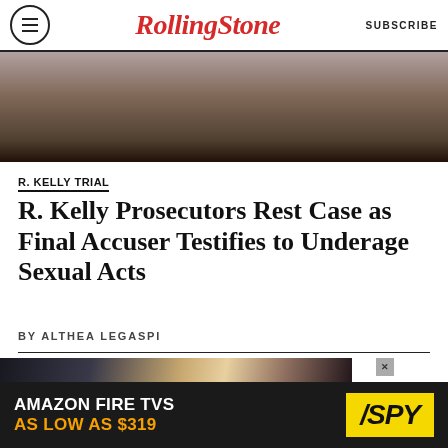Rolling Stone | SUBSCRIBE
[Figure (photo): Photo of a person in a dark suit, partial view from behind/side, courtroom or formal setting]
R. KELLY TRIAL
R. Kelly Prosecutors Rest Case as Final Accuser Testifies to Underage Sexual Acts
BY ALTHEA LEGASPI
[Figure (photo): Side-by-side composite photo of two women — left: woman with blonde highlighted hair, right: woman with dark hair]
[Figure (photo): Amazon Fire TVs advertisement banner — AS LOW AS $319 / SPY logo]